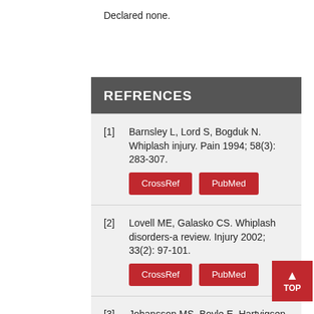Declared none.
REFRENCES
[1]   Barnsley L, Lord S, Bogduk N. Whiplash injury. Pain 1994; 58(3): 283-307.
[2]   Lovell ME, Galasko CS. Whiplash disorders-a review. Injury 2002; 33(2): 97-101.
[3]   Johansson MS, Boyle E, Hartvigsen J, Jensen Stochkendahl M, Carroll L, Cassidy JD. A population-based, incidence cohort study of mid-back pain after traffic collisions: Factors associated with global recovery. Eur J Pain 2015; 19(10): 1486-95.